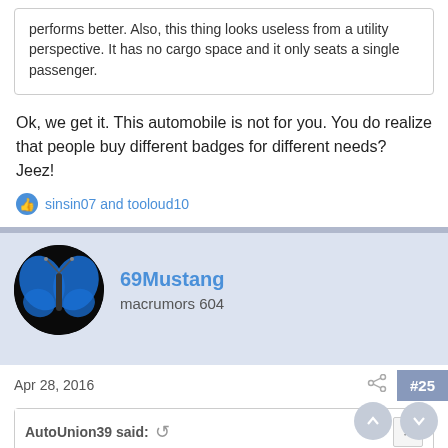performs better. Also, this thing looks useless from a utility perspective. It has no cargo space and it only seats a single passenger.
Ok, we get it. This automobile is not for you. You do realize that people buy different badges for different needs?
Jeez!
sinsin07 and tooloud10
69Mustang
macrumors 604
Apr 28, 2016
#25
AutoUnion39 said:
They're not actually $50k haha